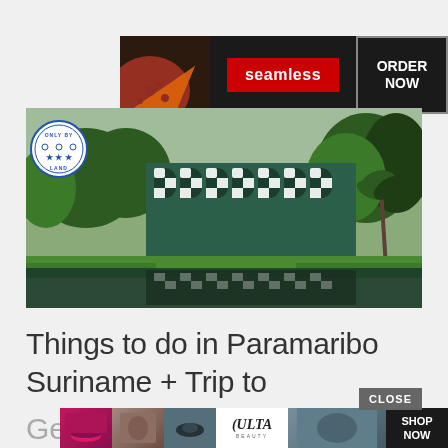[Figure (screenshot): Seamless food delivery advertisement banner with pizza image, seamless logo in red, and ORDER NOW button]
[Figure (photo): Photograph of a large building with checkered black and white facade reflected in a still water body, surrounded by green tropical vegetation. Features an 'Only By Land' circular logo badge in the top left.]
Things to do in Paramaribo Suriname + Trip to Ge...
[Figure (screenshot): ULTA Beauty advertisement banner with makeup model faces and SHOP NOW button, partially overlaid with CLOSE button]